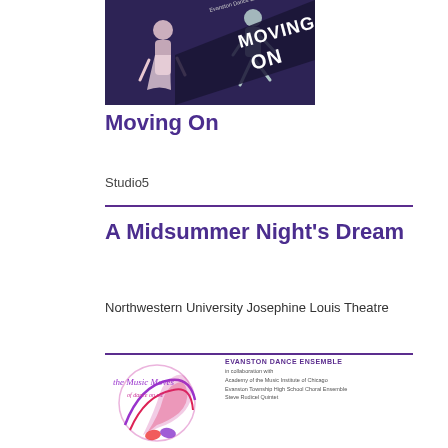[Figure (photo): Promotional photo for 'Moving On' dance show by Evanston Dance Ensemble. Dark purple background with two ballet dancers and text 'MOVING ON' in diagonal white and black letters.]
Moving On
Studio5
A Midsummer Night's Dream
Northwestern University Josephine Louis Theatre
[Figure (logo): Music Moves logo alongside Evanston Dance Ensemble branding text: 'EVANSTON DANCE ENSEMBLE in collaboration with Academy of the Music Institute of Chicago, Evanston Township High School Choral Ensemble, Steve Rudicel Quintet']